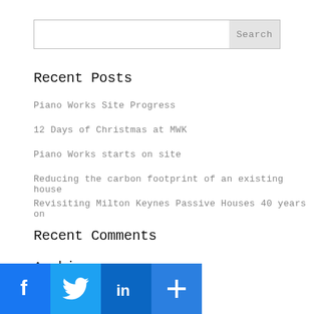[Figure (other): Search bar with text input and Search button]
Recent Posts
Piano Works Site Progress
12 Days of Christmas at MWK
Piano Works starts on site
Reducing the carbon footprint of an existing house
Revisiting Milton Keynes Passive Houses 40 years on
Recent Comments
Archives
July 2021
[Figure (other): Social sharing icons: Facebook, Twitter, LinkedIn, Share/Add button]